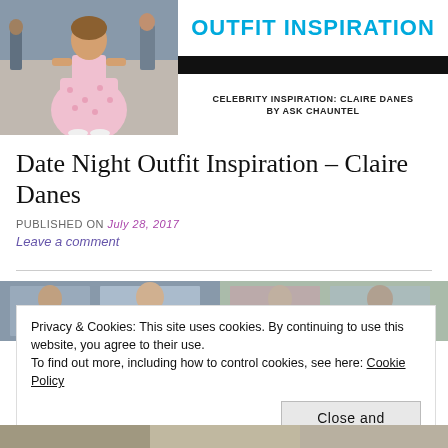[Figure (photo): Celebrity photo of woman in pink floral dress with white heels on a city sidewalk]
OUTFIT INSPIRATION
CELEBRITY INSPIRATION: CLAIRE DANES
BY ASK CHAUNTEL
Date Night Outfit Inspiration – Claire Danes
PUBLISHED ON July 28, 2017
Leave a comment
[Figure (photo): Partial photo strip of celebrity outfit images]
Privacy & Cookies: This site uses cookies. By continuing to use this website, you agree to their use.
To find out more, including how to control cookies, see here: Cookie Policy
Close and accept
[Figure (photo): Bottom partial photo strip of celebrity images]